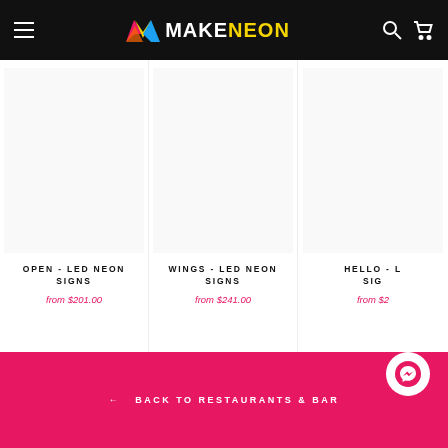MAKENEON
OPEN - LED NEON SIGNS
from $201.00
WINGS - LED NEON SIGNS
from $241.00
HELLO - LED NEON SIGNS
from $2...
← BACK TO RESTAURANTS & BARS